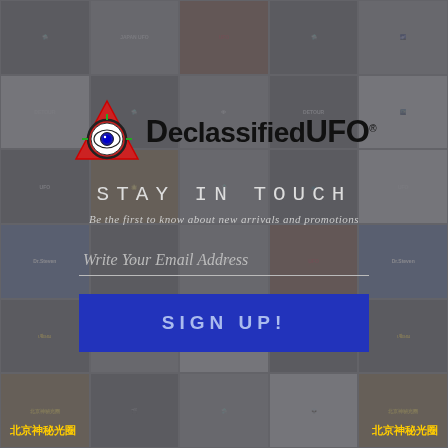[Figure (screenshot): DeclassifiedUFO website screenshot showing a newsletter signup modal overlay on a background grid of UFO-themed video thumbnails. The modal contains the DeclassifiedUFO logo, 'STAY IN TOUCH' heading, subtitle text, email input field, and a blue SIGN UP! button.]
DeclassifiedUFO
STAY IN TOUCH
Be the first to know about new arrivals and promotions
Write Your Email Address
SIGN UP!
北京神秘光圈
北京神秘光圈